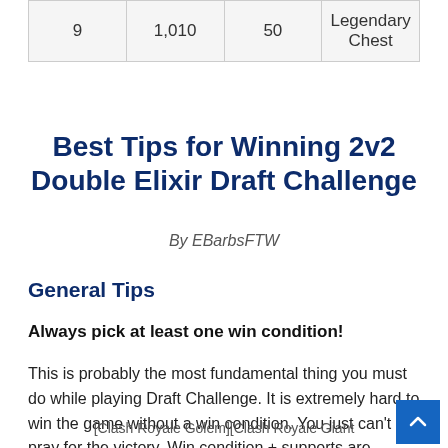| 9 | 1,010 | 50 | Legendary Chest |
Best Tips for Winning 2v2 Double Elixir Draft Challenge
By EBarbsFTW
General Tips
Always pick at least one win condition!
This is probably the most fundamental thing you must do while playing Draft Challenge. It is extremely hard to win the game without a win condition. You just can't pray for the victory. Win condition + supports are always better than glass cannons only.
[Figure (illustration): Two game images side by side with alt text 'Clash Royale Golem' and 'Clash Royale Giant']